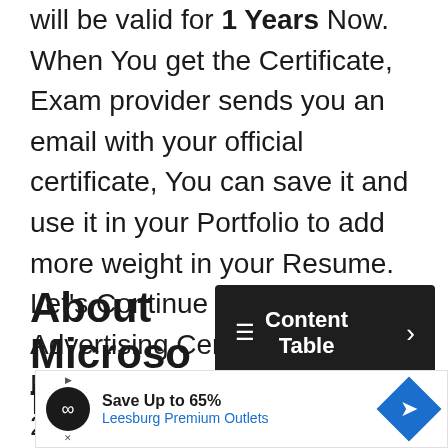will be valid for 1 Years Now. When You get the Certificate, Exam provider sends you an email with your official certificate, You can save it and use it in your Portfolio to add more weight in your Resume. Let's Continue to Microsoft Advertising Certified Professional Exam Answers 2022 You can also Check for Other Exam Answers also on randnyevg34.com
About Microsoft
[Figure (other): Dark content table button with list icon and right arrow]
[Figure (other): Advertisement banner: Save Up to 65% Leesburg Premium Outlets]